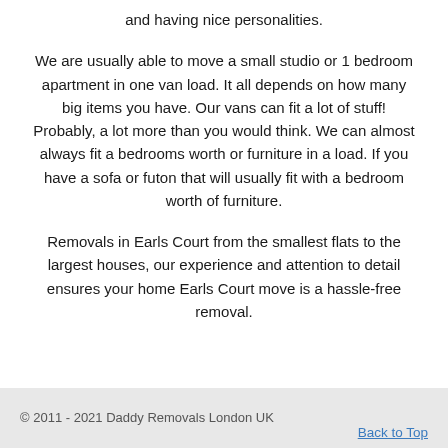and having nice personalities.
We are usually able to move a small studio or 1 bedroom apartment in one van load. It all depends on how many big items you have. Our vans can fit a lot of stuff! Probably, a lot more than you would think. We can almost always fit a bedrooms worth or furniture in a load. If you have a sofa or futon that will usually fit with a bedroom worth of furniture.
Removals in Earls Court from the smallest flats to the largest houses, our experience and attention to detail ensures your home Earls Court move is a hassle-free removal.
© 2011 - 2021 Daddy Removals London UK
Back to Top